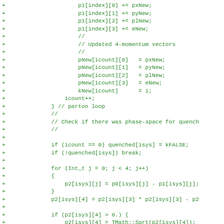[Figure (screenshot): Source code diff showing C++ code additions (green lines with + prefix) involving 4-momentum vector updates, parton loop, phase-space check for quenching, and mass squared calculations using arrays p1, p2, pNew, kNew.]